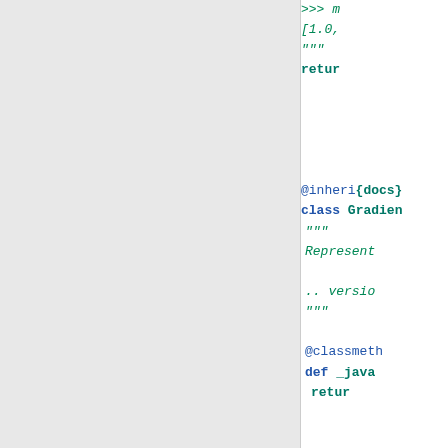[Figure (screenshot): Python source code showing class definitions for GradientBoosting and another class with docstrings and methods. Left panel is gray (sidebar), right panel shows code partially cropped at the right edge.]